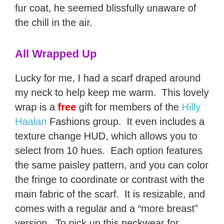fur coat, he seemed blissfully unaware of the chill in the air.
All Wrapped Up
Lucky for me, I had a scarf draped around my neck to help keep me warm.  This lovely wrap is a free gift for members of the Hilly Haalan Fashions group.  It even includes a texture change HUD, which allows you to select from 10 hues.  Each option features the same paisley pattern, and you can color the fringe to coordinate or contrast with the main fabric of the scarf.  It is resizable, and comes with a regular and a “more breast” version.  To pick up this neckwear for yourself, simply teleport to the shop, switch to the Hilly Haalan Fashions group tag (free to join), and tap the vendor.
It’s All About the Comfort